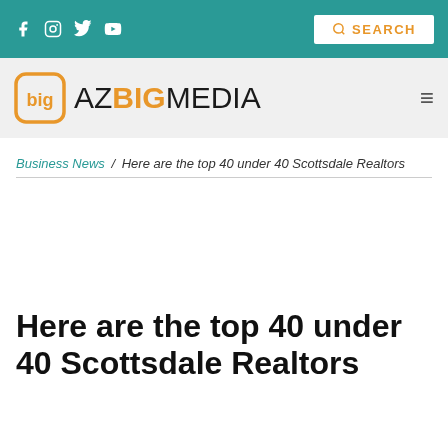AZ BIG MEDIA — social icons: Facebook, Instagram, Twitter, YouTube; SEARCH button
[Figure (logo): AZ BIG MEDIA logo with orange rounded-square icon containing 'big' text, followed by 'AZ' in dark, 'BIG' in orange bold, 'MEDIA' in dark]
Business News / Here are the top 40 under 40 Scottsdale Realtors
Here are the top 40 under 40 Scottsdale Realtors